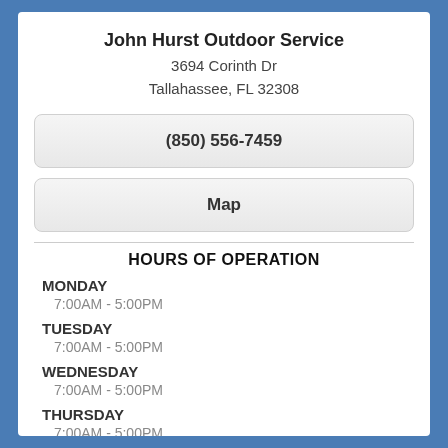John Hurst Outdoor Service
3694 Corinth Dr
Tallahassee, FL 32308
(850) 556-7459
Map
HOURS OF OPERATION
MONDAY
7:00AM - 5:00PM
TUESDAY
7:00AM - 5:00PM
WEDNESDAY
7:00AM - 5:00PM
THURSDAY
7:00AM - 5:00PM
FRIDAY